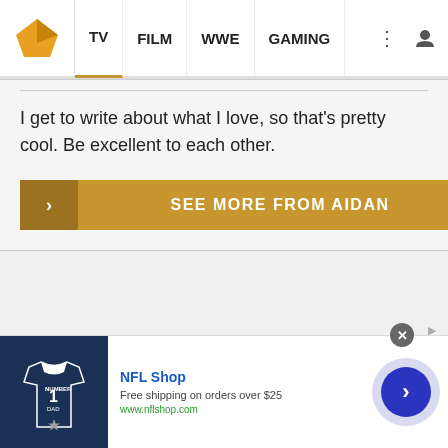TV  FILM  WWE  GAMING
I get to write about what I love, so that's pretty cool. Be excellent to each other.
SEE MORE FROM AIDAN
[Figure (screenshot): Advertisement for NFL Shop: Free shipping on orders over $25, www.nflshop.com, with a Cowboys jersey image and a blue arrow button]